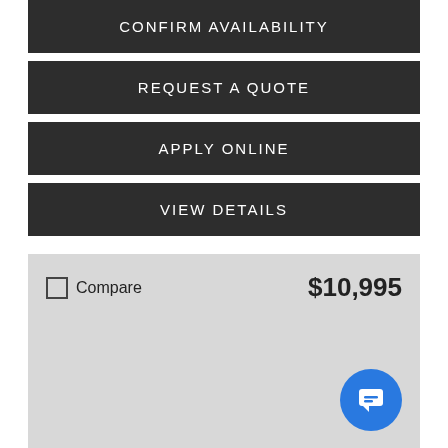CONFIRM AVAILABILITY
REQUEST A QUOTE
APPLY ONLINE
VIEW DETAILS
Compare
$10,995
[Figure (other): Blue circular chat button with message icon]